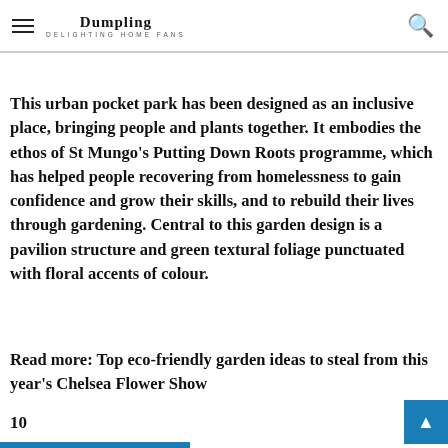Dumpling DELIGHTING HOME FANS
Cityscapes (Built) – Moore & Adolfo Harrison SHOW GARDEN | Award: SILVER
This urban pocket park has been designed as an inclusive place, bringing people and plants together. It embodies the ethos of St Mungo's Putting Down Roots programme, which has helped people recovering from homelessness to gain confidence and grow their skills, and to rebuild their lives through gardening. Central to this garden design is a pavilion structure and green textural foliage punctuated with floral accents of colour.
Read more: Top eco-friendly garden ideas to steal from this year's Chelsea Flower Show
10